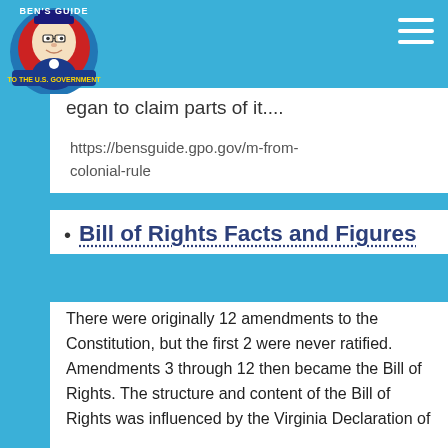Ben's Guide to the U.S. Government
began to claim parts of it....
https://bensguide.gpo.gov/m-from-colonial-rule
Bill of Rights Facts and Figures
There were originally 12 amendments to the Constitution, but the first 2 were never ratified. Amendments 3 through 12 then became the Bill of Rights. The structure and content of the Bill of Rights was influenced by the Virginia Declaration of